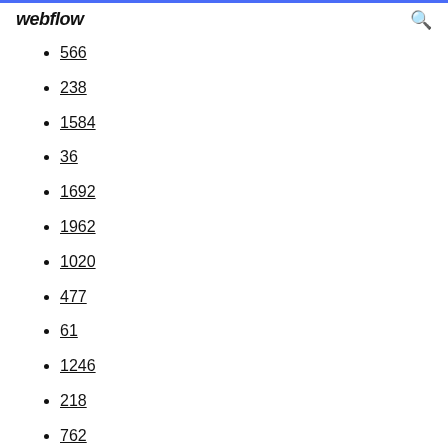webflow
566
238
1584
36
1692
1962
1020
477
61
1246
218
762
395